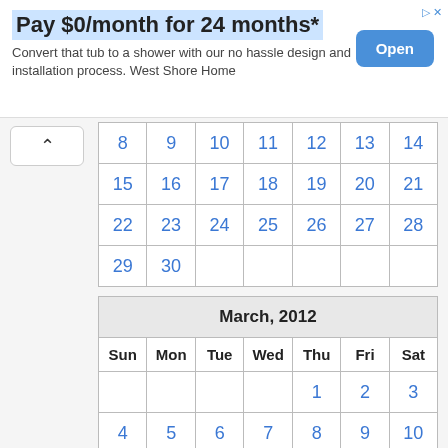[Figure (other): Advertisement banner: 'Pay $0/month for 24 months*' with Open button. Text: 'Convert that tub to a shower with our no hassle design and installation process. West Shore Home']
| 8 | 9 | 10 | 11 | 12 | 13 | 14 |
| 15 | 16 | 17 | 18 | 19 | 20 | 21 |
| 22 | 23 | 24 | 25 | 26 | 27 | 28 |
| 29 | 30 |  |  |  |  |  |
| ['March, 2012'] | ['Sun', 'Mon', 'Tue', 'Wed', 'Thu', 'Fri', 'Sat'] |
| --- | --- |
|  |  |  |  | 1 | 2 | 3 |
| 4 | 5 | 6 | 7 | 8 | 9 | 10 |
| 11 | 12 | 13 | 14 | 15 | 16 | 17 |
| 18 | 19 | 20 | 21 | 22 | 23 | 24 |
| 25 | 26 | 27 | 28 | 29 | 30 | 31 |